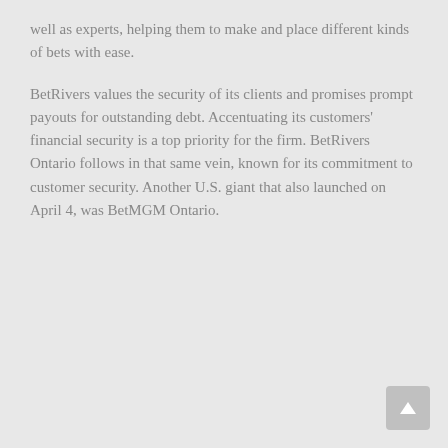well as experts, helping them to make and place different kinds of bets with ease.
BetRivers values the security of its clients and promises prompt payouts for outstanding debt. Accentuating its customers' financial security is a top priority for the firm. BetRivers Ontario follows in that same vein, known for its commitment to customer security. Another U.S. giant that also launched on April 4, was BetMGM Ontario.